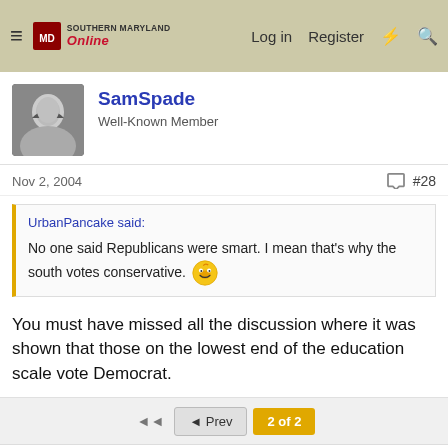Southern Maryland Online — Log in  Register
SamSpade
Well-Known Member
Nov 2, 2004  #28
UrbanPancake said:
No one said Republicans were smart. I mean that's why the south votes conservative.
You must have missed all the discussion where it was shown that those on the lowest end of the education scale vote Democrat.
◄◄  ◄ Prev  2 of 2
You must log in or register to reply here.
Share: